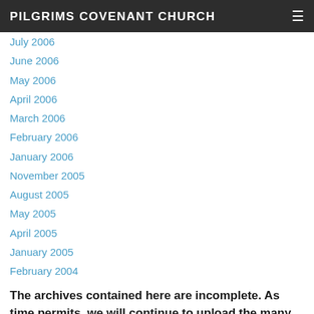PILGRIMS COVENANT CHURCH
July 2006
June 2006
May 2006
April 2006
March 2006
February 2006
January 2006
November 2005
August 2005
May 2005
April 2005
January 2005
February 2004
The archives contained here are incomplete. As time permits, we will continue to upload the many hundreds of sermons and Heart of the Matter programs which were posted on our old